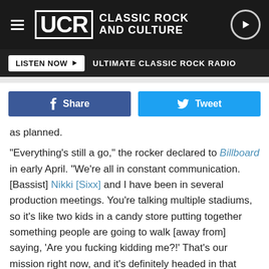UCR CLASSIC ROCK AND CULTURE
LISTEN NOW | ULTIMATE CLASSIC ROCK RADIO
[Figure (screenshot): Facebook Share button and Twitter Tweet button]
as planned.

"Everything's still a go," the rocker declared to Billboard in early April. "We're all in constant communication. [Bassist] Nikki [Sixx] and I have been in several production meetings. You're talking multiple stadiums, so it's like two kids in a candy store putting together something people are going to walk [away from] saying, 'Are you fucking kidding me?!' That's our mission right now, and it's definitely headed in that direction."